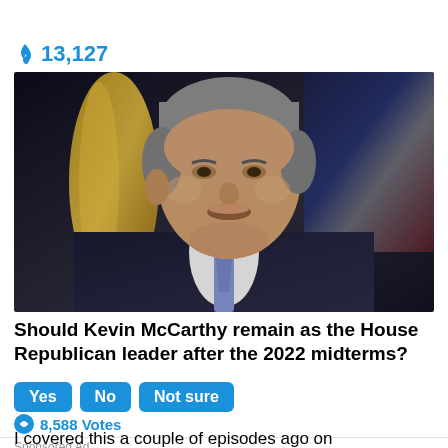🔥 13,127
[Figure (photo): Close-up photo of Kevin McCarthy, a man with grey hair wearing a dark suit, speaking at what appears to be a press conference with American flags in the background.]
Should Kevin McCarthy remain as the House Republican leader after the 2022 midterms?
Yes   No   Not sure
🔄 8,588 Votes
Sponsored Ad
I covered this a couple of episodes ago on